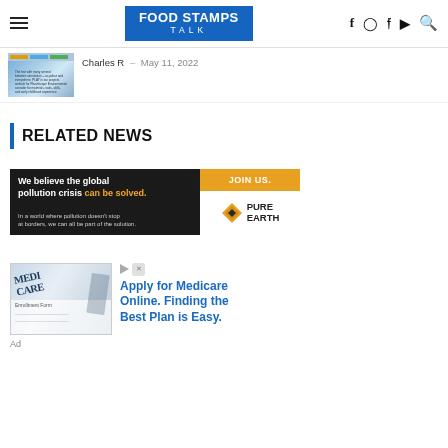Food Stamps Talk
Charles R  -  May 11, 2022
RELATED NEWS
[Figure (infographic): Pure Earth advertisement: 'We believe the global pollution crisis can be solved. In a world where pollution doesn't stop at borders, we can all be part of the solution.' with JOIN US. button and Pure Earth logo]
[Figure (photo): Medicare Enrollment Form with clipboard and pen. Ad for 'Apply for Medicare Online. Finding the Best Plan is Easy.']
Ad